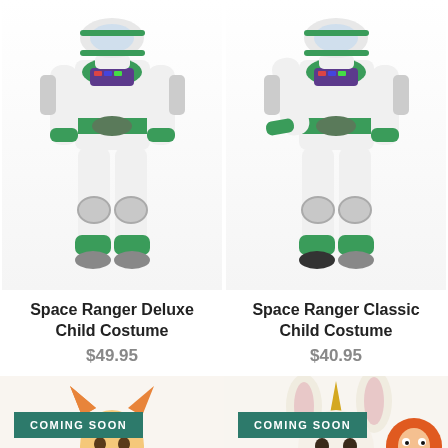[Figure (photo): Child wearing Space Ranger Deluxe Buzz Lightyear costume - white jumpsuit with green accents]
[Figure (photo): Child wearing Space Ranger Classic Buzz Lightyear costume - white jumpsuit with green accents]
Space Ranger Deluxe Child Costume
$49.95
Space Ranger Classic Child Costume
$40.95
[Figure (photo): Coming Soon - child in yellow costume with orange cat ears]
[Figure (photo): Coming Soon - costume accessories with bunny ears and fox character]